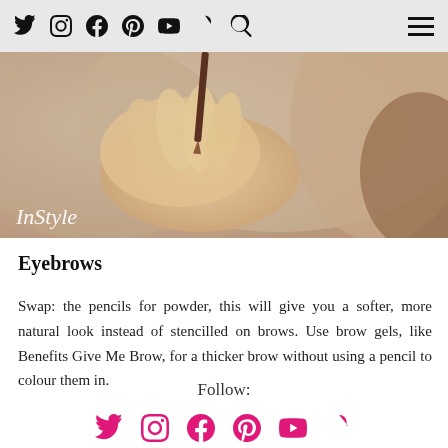Navigation bar with social icons: Twitter, Instagram, Facebook, Pinterest, YouTube, Snapchat, Search, and hamburger menu
[Figure (photo): Close-up photo of a person applying an eyebrow pencil near their brow. The image has an InStyle watermark in the lower-left corner.]
Eyebrows
Swap: the pencils for powder, this will give you a softer, more natural look instead of stencilled on brows. Use brow gels, like Benefits Give Me Brow, for a thicker brow without using a pencil to colour them in.
Follow:
[Figure (infographic): Row of pink social media icons: Twitter, Instagram, Facebook, Pinterest, YouTube, Snapchat]